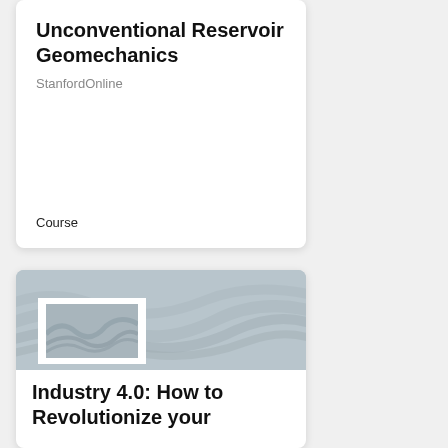Unconventional Reservoir Geomechanics
StanfordOnline
Course
[Figure (illustration): Course card thumbnail with topographic map background pattern and an inset image placeholder showing a texture.]
Industry 4.0: How to Revolutionize your